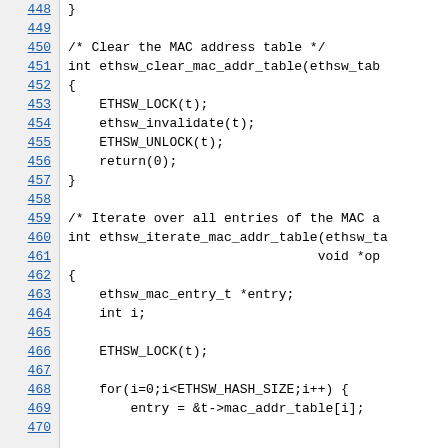[Figure (screenshot): Source code viewer showing C code lines 448-470 with line numbers on the left in a gray sidebar. The code shows functions ethsw_clear_mac_addr_table and ethsw_iterate_mac_addr_table with ETHSW_LOCK, ethsw_invalidate, ETHSW_UNLOCK, and a for loop over ETHSW_HASH_SIZE.]